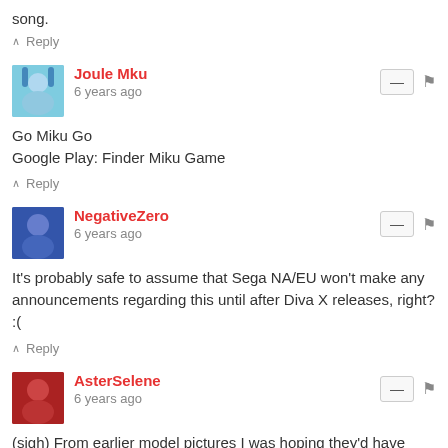song.
↑ Reply
Joule Mku
6 years ago
Go Miku Go
Google Play: Finder Miku Game
↑ Reply
NegativeZero
6 years ago
It's probably safe to assume that Sega NA/EU won't make any announcements regarding this until after Diva X releases, right? :(
↑ Reply
AsterSelene
6 years ago
(sigh) From earlier model pictures I was hoping they'd have finally ironed out the problem where their Future Tone models can sometimes look like they're badly formed out of clay, but it seems as per the pictures above they still didn't do anything